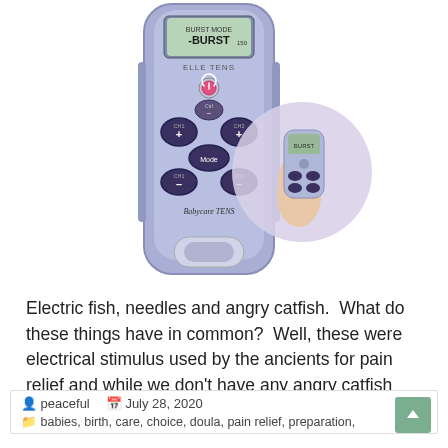[Figure (photo): A Babycare TENS / Elle TENS device shown in purple/grey color with buttons labeled CH1+, CH2+, CH1-, CH2-, Mode, and a Boost button. Display shows BURST mode. A secondary inset circle shows a hand holding the device.]
Electric fish, needles and angry catfish.  What do these things have in common?  Well, these were electrical stimulus used by the ancients for pain relief and while we don't have any angry catfish from the Nile in our doula bags,
peaceful   July 28, 2020   babies, birth, care, choice, doula, pain relief, preparation,